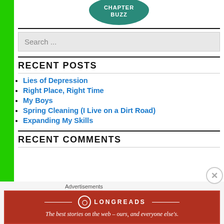[Figure (logo): Circular teal/green logo with white text partially visible at top]
Search ...
RECENT POSTS
Lies of Depression
Right Place, Right Time
My Boys
Spring Cleaning (I Live on a Dirt Road)
Expanding My Skills
RECENT COMMENTS
[Figure (advertisement): Longreads advertisement banner: red background with logo and tagline 'The best stories on the web – ours, and everyone else's.']